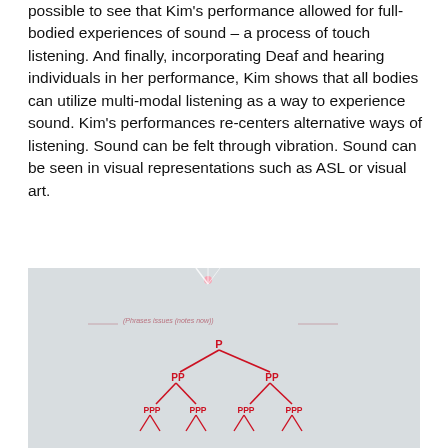possible to see that Kim's performance allowed for full-bodied experiences of sound – a process of touch listening. And finally, incorporating Deaf and hearing individuals in her performance, Kim shows that all bodies can utilize multi-modal listening as a way to experience sound. Kim's performances re-centers alternative ways of listening. Sound can be felt through vibration. Sound can be seen in visual representations such as ASL or visual art.
[Figure (other): A photograph of a whiteboard or paper showing a syntax tree diagram drawn in red ink. The tree is labeled with P at the root, branching into two PP nodes, each branching into PPP and PPP leaf nodes. There is also faint handwritten text at the top reading something like '(phrases / issues / (notes / now))'. A light beam or reflection appears at the top of the image.]